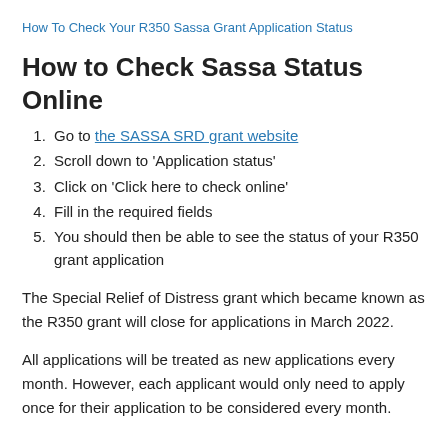How To Check Your R350 Sassa Grant Application Status
How to Check Sassa Status Online
Go to the SASSA SRD grant website
Scroll down to 'Application status'
Click on 'Click here to check online'
Fill in the required fields
You should then be able to see the status of your R350 grant application
The Special Relief of Distress grant which became known as the R350 grant will close for applications in March 2022.
All applications will be treated as new applications every month. However, each applicant would only need to apply once for their application to be considered every month.